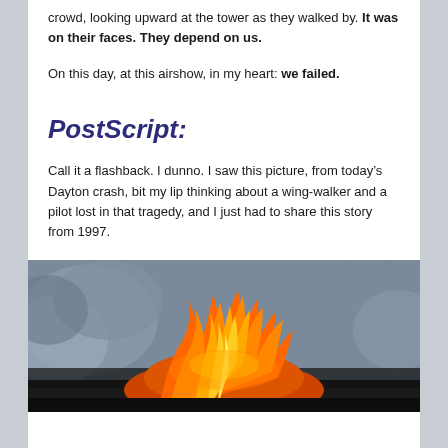crowd, looking upward at the tower as they walked by. It was on their faces. They depend on us.
On this day, at this airshow, in my heart: we failed.
PostScript:
Call it a flashback. I dunno. I saw this picture, from today’s Dayton crash, bit my lip thinking about a wing-walker and a pilot lost in that tragedy, and I just had to share this story from 1997.
[Figure (photo): A large fire with bright orange and yellow flames against a grey smoky sky, appearing to be an aircraft crash fire at an airshow.]